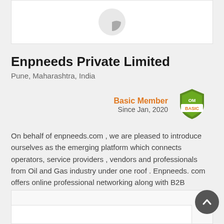[Figure (logo): Company profile logo placeholder with a half-circle grey icon on white background]
Enpneeds Private Limited
Pune, Maharashtra, India
Basic Member
Since Jan, 2020
[Figure (logo): OM Basic badge shield logo in green with text OM BASIC]
On behalf of enpneeds.com , we are pleased to introduce ourselves as the emerging platform which connects operators, service providers , vendors and professionals from Oil and Gas industry under one roof . Enpneeds. com offers online professional networking along with B2B services exclusively for the...
➜ Read more   ✈ Contact now
[Figure (other): Bottom partial card section visible at page bottom]
[Figure (other): Back to top circular button with upward chevron arrow]